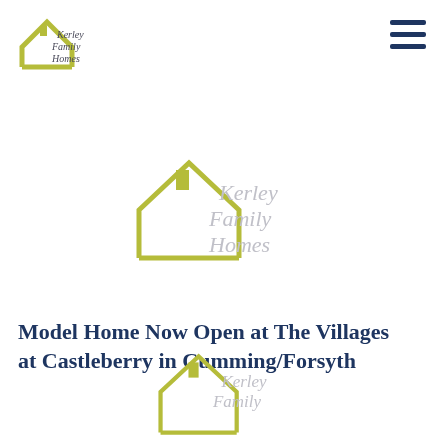[Figure (logo): Kerley Family Homes logo — house outline in olive/yellow-green with script text 'Kerley Family Homes' in dark grey]
[Figure (other): Hamburger menu icon — three horizontal dark navy bars]
[Figure (logo): Kerley Family Homes watermark logo — large centered, house outline in olive/yellow-green with script text in light grey]
Model Home Now Open at The Villages at Castleberry in Cumming/Forsyth
[Figure (logo): Kerley Family Homes logo — partial, cropped at bottom of page, house outline with script text]